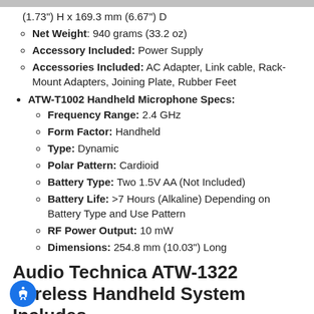(1.73") H x 169.3 mm (6.67") D
Net Weight: 940 grams (33.2 oz)
Accessory Included: Power Supply
Accessories Included: AC Adapter, Link cable, Rack-Mount Adapters, Joining Plate, Rubber Feet
ATW-T1002 Handheld Microphone Specs:
Frequency Range: 2.4 GHz
Form Factor: Handheld
Type: Dynamic
Polar Pattern: Cardioid
Battery Type: Two 1.5V AA (Not Included)
Battery Life: >7 Hours (Alkaline) Depending on Battery Type and Use Pattern
RF Power Output: 10 mW
Dimensions: 254.8 mm (10.03") Long
Audio Technica ATW-1322 Wireless Handheld System Includes
1 x Audio Technica ATW-RU13x2 Receiver Unit
1 x Audio Technica ATW-RC13 Rack-Mount Receiver